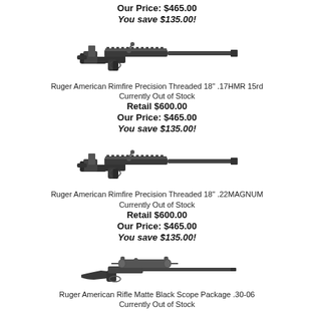Our Price: $465.00
You save $135.00!
[Figure (photo): Ruger American Rimfire Precision Threaded rifle, black, side view]
Ruger American Rimfire Precision Threaded 18" .17HMR 15rd
Currently Out of Stock
Retail $600.00
Our Price: $465.00
You save $135.00!
[Figure (photo): Ruger American Rimfire Precision Threaded rifle, black, side view]
Ruger American Rimfire Precision Threaded 18" .22MAGNUM
Currently Out of Stock
Retail $600.00
Our Price: $465.00
You save $135.00!
[Figure (photo): Ruger American Rifle with scope, black, side view]
Ruger American Rifle Matte Black Scope Package .30-06
Currently Out of Stock